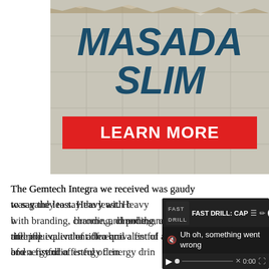[Figure (illustration): Advertisement image for 'MASADA SLIM' with bold dark teal italic text on a crumpled paper/tile background with torn top edge, and a red 'LEARN MORE' button]
The Gemtech Integra we received was gaudy to say the least. Heavy with branding, chrome, and pol the rifle equivalent of a bro and a fistful of energy drin
[Figure (screenshot): Video player overlay showing 'FAST DRILL: CAP' title with error message 'Uh oh, something went wrong' and playback controls at 0:00]